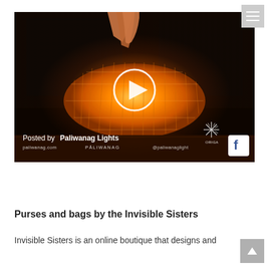[Figure (screenshot): Video thumbnail showing a glowing orange origami-style lantern on a dark wooden floor. A hand reaches down from the top. There is a white play button circle in the center. Text at the bottom reads 'Posted by Paliwanag Lights' with watermark logos including PALIWANAG, ORIGA, and a Facebook icon. URLs paliwanag.com and @paliwanaglight are visible.]
Purses and bags by the Invisible Sisters
Invisible Sisters is an online boutique that designs and